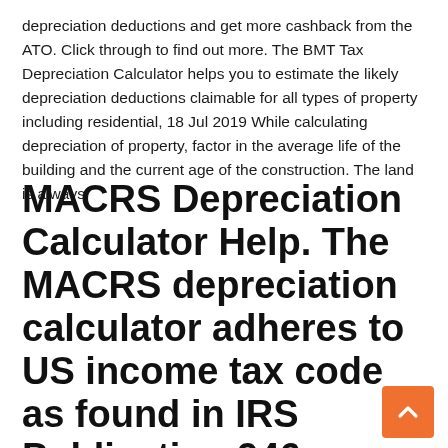depreciation deductions and get more cashback from the ATO. Click through to find out more. The BMT Tax Depreciation Calculator helps you to estimate the likely depreciation deductions claimable for all types of property including residential,  18 Jul 2019 While calculating depreciation of property, factor in the average life of the building and the current age of the construction. The land is always
MACRS Depreciation Calculator Help. The MACRS depreciation calculator adheres to US income tax code as found in IRS Publication 946 (opens in new tab). Above